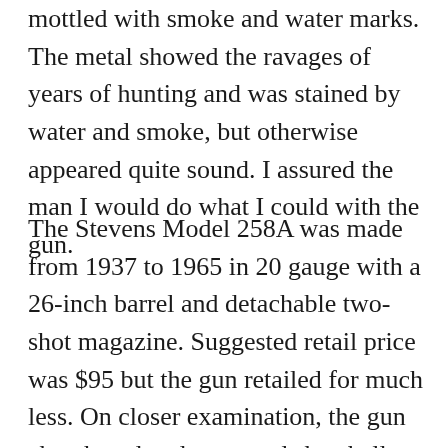mottled with smoke and water marks. The metal showed the ravages of years of hunting and was stained by water and smoke, but otherwise appeared quite sound. I assured the man I would do what I could with the gun.
The Stevens Model 258A was made from 1937 to 1965 in 20 gauge with a 26-inch barrel and detachable two-shot magazine. Suggested retail price was $95 but the gun retailed for much less. On closer examination, the gun chambered and extracted shotshells well and left a nice, deep firing pin mark on a primed, uncharged shell. I had adjusted the trigger for him more than thirty